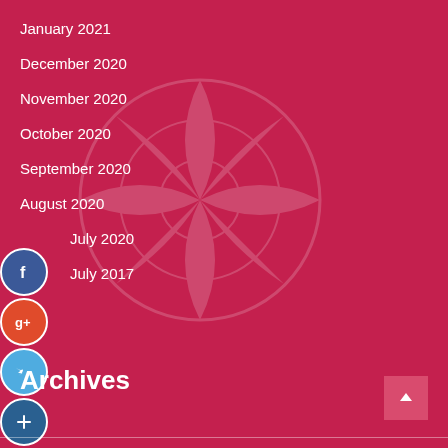January 2021
December 2020
November 2020
October 2020
September 2020
August 2020
July 2020
July 2017
Archives